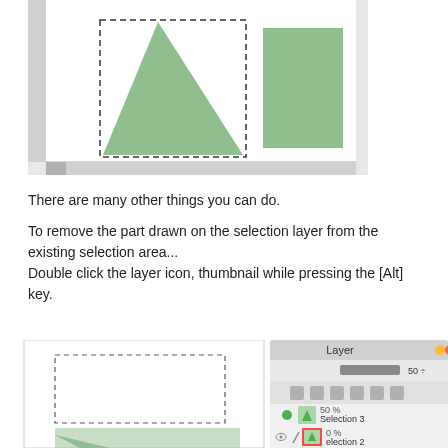[Figure (screenshot): Canvas area showing a green triangle with dashed selection border on the left and a green rectangle on the right, on a white/gray background]
There are many other things you can do.
To remove the part drawn on the selection layer from the existing selection area...
Double click the layer icon, thumbnail while pressing the [Alt] key.
[Figure (screenshot): Split view showing a canvas with a dashed selection rectangle and a partial green triangle at the bottom-left, alongside a Layer panel showing Selection 3 at 50% and Selection 2 at 0% with a red highlight on the layer thumbnail icon]